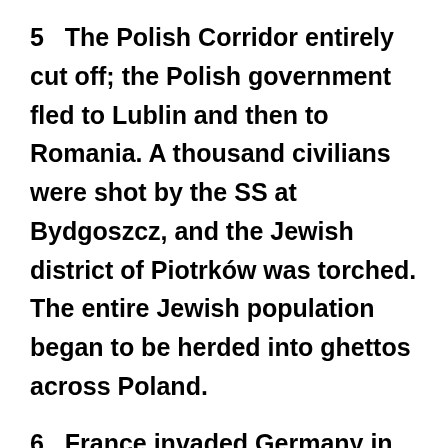5   The Polish Corridor entirely cut off; the Polish government fled to Lublin and then to Romania. A thousand civilians were shot by the SS at Bydgoszcz, and the Jewish district of Piotrków was torched. The entire Jewish population began to be herded into ghettos across Poland.
6   France invaded Germany in the Saarland; Germans retreated to Siegfried